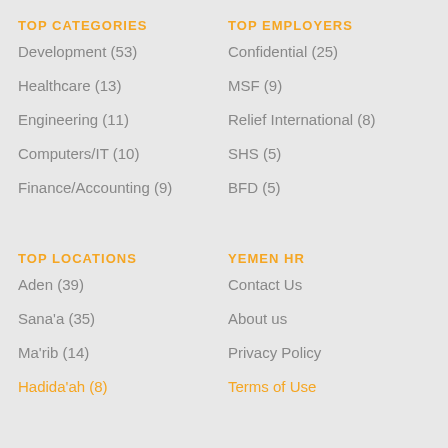TOP CATEGORIES
TOP EMPLOYERS
Development (53)
Confidential (25)
Healthcare (13)
MSF (9)
Engineering (11)
Relief International (8)
Computers/IT (10)
SHS (5)
Finance/Accounting (9)
BFD (5)
TOP LOCATIONS
YEMEN HR
Aden (39)
Contact Us
Sana'a (35)
About us
Ma'rib (14)
Privacy Policy
Hadida'ah (8)
Terms of Use